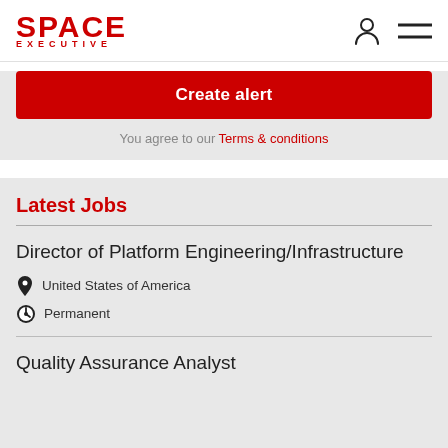[Figure (logo): Space Executive logo in red with 'SPACE' in large bold letters and 'EXECUTIVE' in smaller spaced letters below]
Create alert
You agree to our Terms & conditions
Latest Jobs
Director of Platform Engineering/Infrastructure
United States of America
Permanent
Quality Assurance Analyst